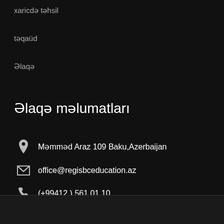xaricdə təhsil
təqaüd
Əlaqə
Əlaqə məlumatları
Məmməd Araz 109 Baku,Azerbaijan
office@regisbceducation.az
(+99412 ) 561 01 10
© 2018 . Bütün hüquqlar qorunur & Developed by Regis BC Əhli